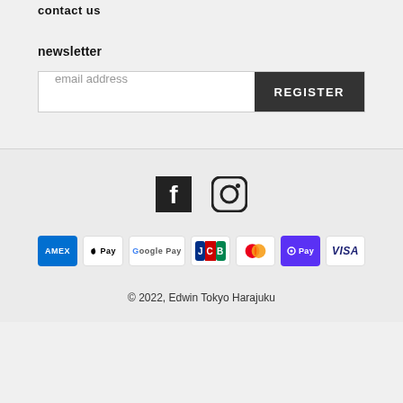contact us
newsletter
email address | REGISTER
[Figure (infographic): Social media icons: Facebook and Instagram logos]
[Figure (infographic): Payment method badges: AMEX, Apple Pay, Google Pay, JCB, Mastercard, Shop Pay, Visa]
© 2022, Edwin Tokyo Harajuku